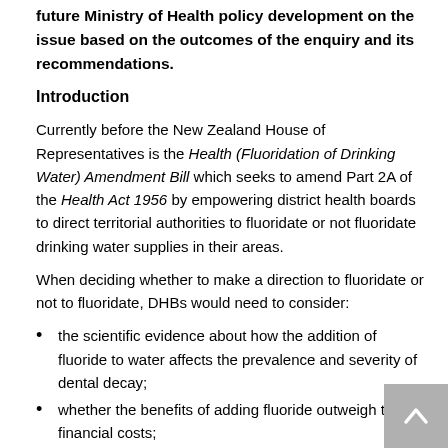future Ministry of Health policy development on the issue based on the outcomes of the enquiry and its recommendations.
Introduction
Currently before the New Zealand House of Representatives is the Health (Fluoridation of Drinking Water) Amendment Bill which seeks to amend Part 2A of the Health Act 1956 by empowering district health boards to direct territorial authorities to fluoridate or not fluoridate drinking water supplies in their areas.
When deciding whether to make a direction to fluoridate or not to fluoridate, DHBs would need to consider:
the scientific evidence about how the addition of fluoride to water affects the prevalence and severity of dental decay;
whether the benefits of adding fluoride outweigh the financial costs;
consider a population's oral health status and population